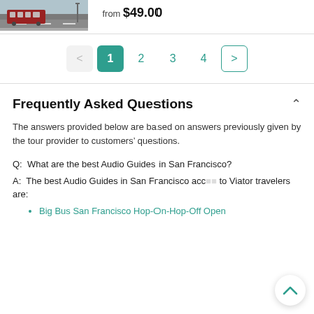[Figure (photo): A red streetcar/tram on a city street in San Francisco]
from $49.00
< 1 2 3 4 >
Frequently Asked Questions
The answers provided below are based on answers previously given by the tour provider to customers' questions.
Q:  What are the best Audio Guides in San Francisco?
A:  The best Audio Guides in San Francisco acc to Viator travelers are:
Big Bus San Francisco Hop-On-Hop-Off Open